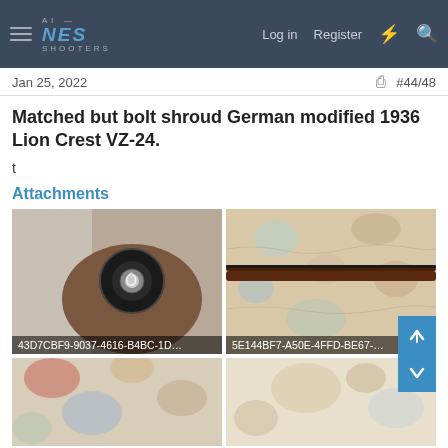NES SHOOTERS — Log in | Register
Jan 25, 2022  #44/48
Matched but bolt shroud German modified 1936 Lion Crest VZ-24.
t
Attachments
[Figure (photo): Close-up photo of a bolt shroud of a rifle, showing a circular metal end cap with a spiral pattern, held in someone's hand. Image filename: 43D7CBF9-9037-4616-B4BC-1D...]
[Figure (photo): Photo of a rifle laid on a decorative carpet/rug with a floral pattern in teal, orange, and cream. Image filename: 5E144BF7-A50E-4FFD-BE67-...]
[Figure (photo): Partial bottom-left photo of similar decorative carpet/rug with colorful floral patterns.]
[Figure (photo): Partial bottom-right photo of cream/tan carpet or rug surface.]